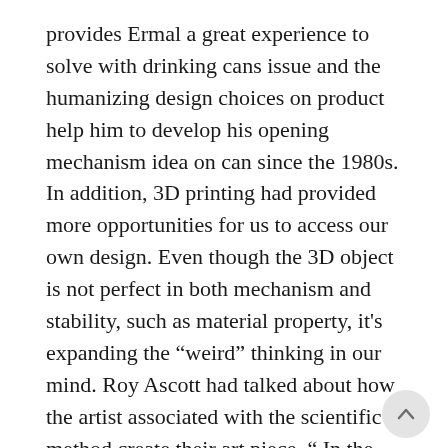provides Ermal a great experience to solve with drinking cans issue and the humanizing design choices on product help him to develop his opening mechanism idea on can since the 1980s. In addition, 3D printing had provided more opportunities for us to access our own design. Even though the 3D object is not perfect in both mechanism and stability, such as material property, it's expanding the “weird” thinking in our mind. Roy Ascott had talked about how the artist associated with the scientific method create their art piece, “ In the process, and reflecting upon their previously contrived limitations of behavior, they become aware of the flexibility of their responses, their resourcefulness and ingenuity in the face of difficulties” (Ascott 132). He indicated that the significance of creative viability for students. As the use and pattern changes in society, many impossible objects are tested and exanimated by most people.

No double the Toilet Paper Holder is a tiny invention, and it sometimes may not truly function in the society. The process of